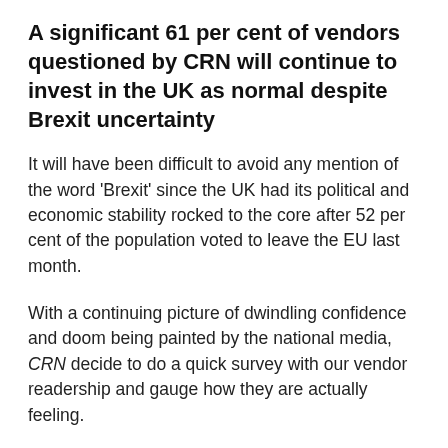A significant 61 per cent of vendors questioned by CRN will continue to invest in the UK as normal despite Brexit uncertainty
It will have been difficult to avoid any mention of the word 'Brexit' since the UK had its political and economic stability rocked to the core after 52 per cent of the population voted to leave the EU last month.
With a continuing picture of dwindling confidence and doom being painted by the national media, CRN decide to do a quick survey with our vendor readership and gauge how they are actually feeling.